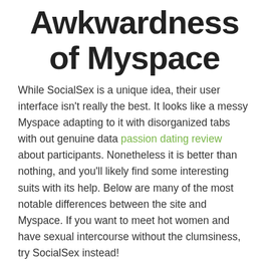Awkwardness of Myspace
While SocialSex is a unique idea, their user interface isn't really the best. It looks like a messy Myspace adapting to it with disorganized tabs with out genuine data passion dating review about participants. Nonetheless it is better than nothing, and you'll likely find some interesting suits with its help. Below are many of the most notable differences between the site and Myspace. If you want to meet hot women and have sexual intercourse without the clumsiness, try SocialSex instead!